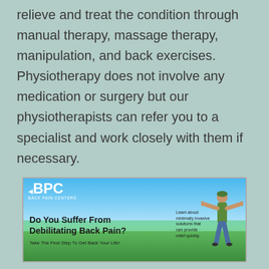relieve and treat the condition through manual therapy, massage therapy, manipulation, and back exercises. Physiotherapy does not involve any medication or surgery but our physiotherapists can refer you to a specialist and work closely with them if necessary.
[Figure (illustration): BPC Back Pain Centers advertisement banner showing a person with arms spread wide on a green hill with blue sky. Text reads: 'Do You Suffer From Debilitating Back Pain? Take The First Step To Get Back Your Life!' with side text 'Learn about minimally invasive solutions that can provide relief quickly.']
Low back pain in particular is responsible for 2.6 million visits to the emergency room each year and is the leading cause of disability